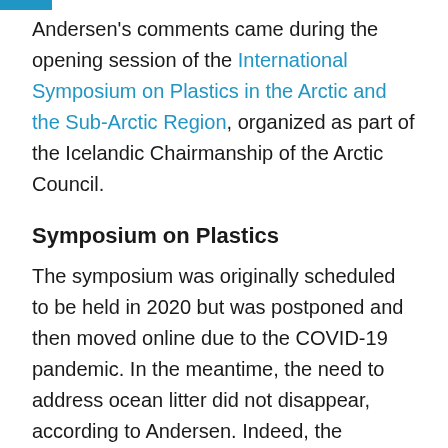Andersen's comments came during the opening session of the International Symposium on Plastics in the Arctic and the Sub-Arctic Region, organized as part of the Icelandic Chairmanship of the Arctic Council.
Symposium on Plastics
The symposium was originally scheduled to be held in 2020 but was postponed and then moved online due to the COVID-19 pandemic. In the meantime, the need to address ocean litter did not disappear, according to Andersen. Indeed, the problem, she said, has become even more urgent as vast amounts of face masks, plastic gloves, single-use